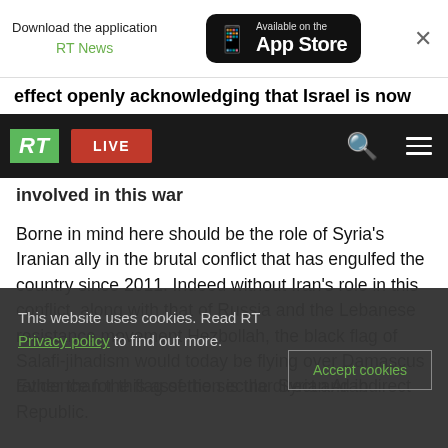[Figure (screenshot): App Store download banner for RT News application with phone icon and 'Available on the App Store' button on black background, and an X close button]
effect openly acknowledging that Israel is now
[Figure (screenshot): RT (Russia Today) navigation bar with green RT logo, red LIVE button, search icon, and hamburger menu on black background]
involved in this war
Borne in mind here should be the role of Syria's Iranian ally in the brutal conflict that has engulfed the country since 2011. Indeed without Iran's role in this conflict, along with that of Russia and the Lebanese resistance movement Hezbollah, the black flag of Salafi-jihadism would today be flying over Damascus rather than the flag of the secular Syrian Arab Republic.
Evidence for this assertion is the direct and indirect
This website uses cookies. Read RT Privacy policy to find out more.
Accept cookies